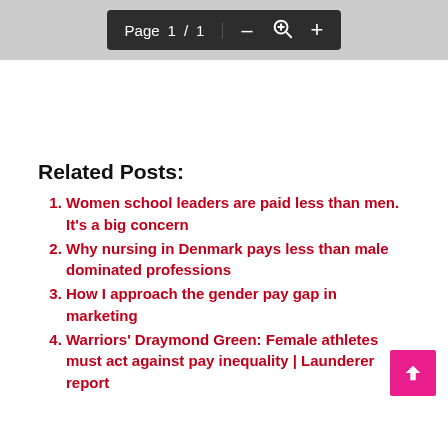[Figure (screenshot): PDF viewer toolbar showing 'Page 1 / 1' with zoom controls (minus, magnifying glass, plus) on dark background]
Related Posts:
Women school leaders are paid less than men. It's a big concern
Why nursing in Denmark pays less than male dominated professions
How I approach the gender pay gap in marketing
Warriors' Draymond Green: Female athletes must act against pay inequality | Launderer report